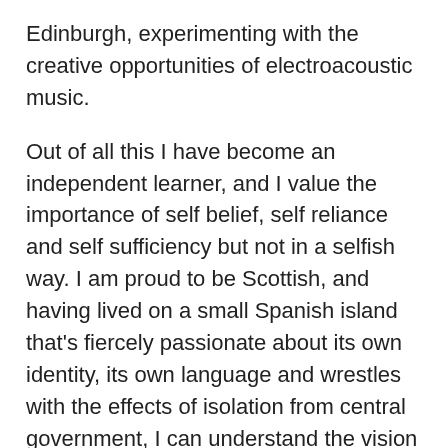Edinburgh, experimenting with the creative opportunities of electroacoustic music.
Out of all this I have become an independent learner, and I value the importance of self belief, self reliance and self sufficiency but not in a selfish way. I am proud to be Scottish, and having lived on a small Spanish island that's fiercely passionate about its own identity, its own language and wrestles with the effects of isolation from central government, I can understand the vision of an independent Scotland. We have to believe in ourselves, our capabilities, our resources.
I am excited about how National Collective is encouraging the hopes and aspirations of creative Scots. Sometimes our dreams are impractical, but